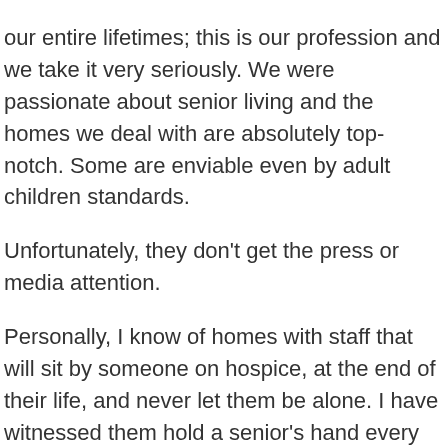our entire lifetimes; this is our profession and we take it very seriously. We were passionate about senior living and the homes we deal with are absolutely top-notch. Some are enviable even by adult children standards.
Unfortunately, they don't get the press or media attention.
Personally, I know of homes with staff that will sit by someone on hospice, at the end of their life, and never let them be alone. I have witnessed them hold a senior's hand every night and stay by their side when they pass.
These are not homes that draw negative media attention and therefore do not make it on TV or in newspaper stories. Most of these providers are amazingly compassionate, wonderful